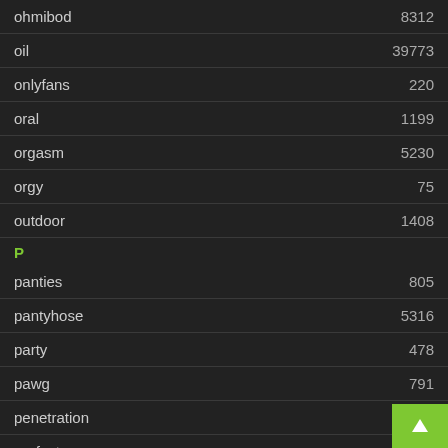| term | count |
| --- | --- |
| ohmibod | 8312 |
| oil | 39773 |
| onlyfans | 220 |
| oral | 1199 |
| orgasm | 5230 |
| orgy | 75 |
| outdoor | 1408 |
P
| term | count |
| --- | --- |
| panties | 805 |
| pantyhose | 5316 |
| party | 478 |
| pawg | 791 |
| penetration | 178 |
| perfect | 212 |
| perky |  |